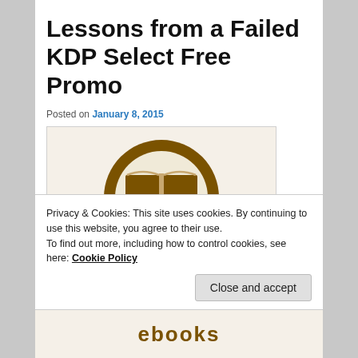Lessons from a Failed KDP Select Free Promo
Posted on January 8, 2015
[Figure (illustration): Book logo illustration: brown circle with an open book icon inside on a cream background]
Privacy & Cookies: This site uses cookies. By continuing to use this website, you agree to their use.
To find out more, including how to control cookies, see here: Cookie Policy
Close and accept